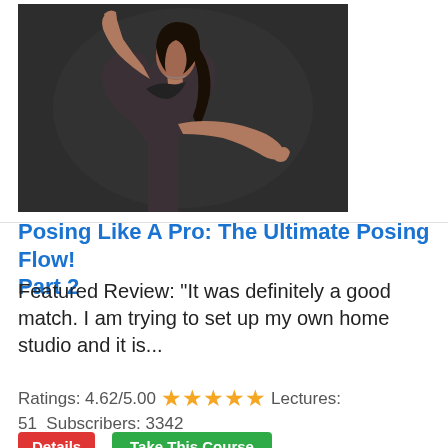[Figure (photo): A woman with dark hair wearing a black dress, arms extended outward with one arm raised high, posed against a dark grey background in a professional studio photography style.]
Posing Like A Pro: The Ultimate Posing Flow! Part 2
Featured Review: "It was definitely a good match. I am trying to set up my own home studio and it is...
Ratings: 4.62/5.00 ★★★★★ Lectures: 51  Subscribers: 3342
Details
Take This Course